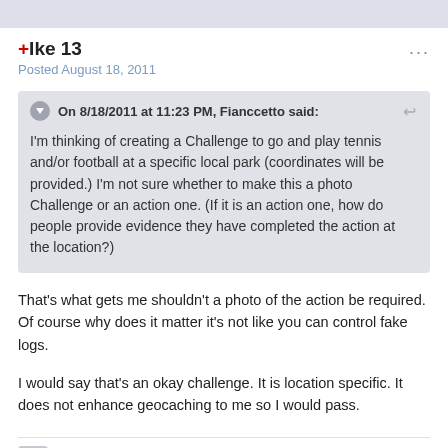+Ike 13
Posted August 18, 2011
On 8/18/2011 at 11:23 PM, Fianccetto said:

I'm thinking of creating a Challenge to go and play tennis and/or football at a specific local park (coordinates will be provided.) I'm not sure whether to make this a photo Challenge or an action one. (If it is an action one, how do people provide evidence they have completed the action at the location?)
That's what gets me shouldn't a photo of the action be required. Of course why does it matter it's not like you can control fake logs.
I would say that's an okay challenge. It is location specific. It does not enhance geocaching to me so I would pass.